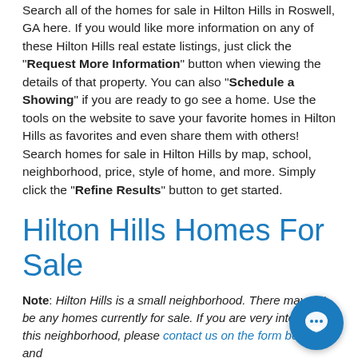Search all of the homes for sale in Hilton Hills in Roswell, GA here. If you would like more information on any of these Hilton Hills real estate listings, just click the "Request More Information" button when viewing the details of that property. You can also "Schedule a Showing" if you are ready to go see a home. Use the tools on the website to save your favorite homes in Hilton Hills as favorites and even share them with others! Search homes for sale in Hilton Hills by map, school, neighborhood, price, style of home, and more. Simply click the "Refine Results" button to get started.
Hilton Hills Homes For Sale
Note: Hilton Hills is a small neighborhood. There may not be any homes currently for sale. If you are very interested in this neighborhood, please contact us on the form below and